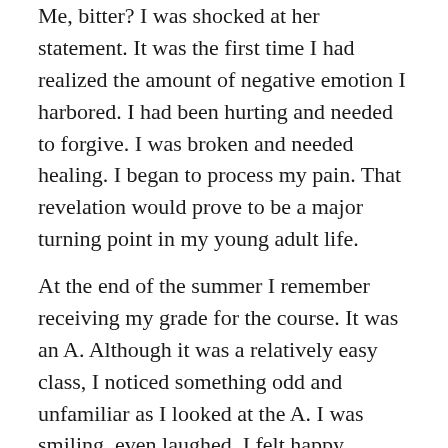Me, bitter? I was shocked at her statement. It was the first time I had realized the amount of negative emotion I harbored. I had been hurting and needed to forgive. I was broken and needed healing. I began to process my pain. That revelation would prove to be a major turning point in my young adult life.
At the end of the summer I remember receiving my grade for the course. It was an A. Although it was a relatively easy class, I noticed something odd and unfamiliar as I looked at the A. I was smiling, even laughed. I felt happy.